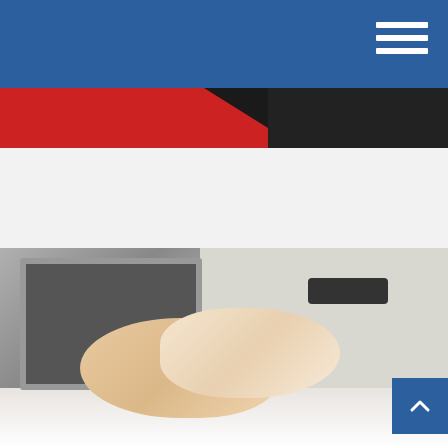[Figure (photo): Dark navigation bar with blue background and white hamburger/menu icon in top right corner]
[Figure (photo): Partial view of a person wearing a red shirt against a dark background]
[Figure (photo): Two people shaking hands over a desk with a laptop and documents in the background, business agreement scene with a blue scroll-to-top button in the bottom right corner]